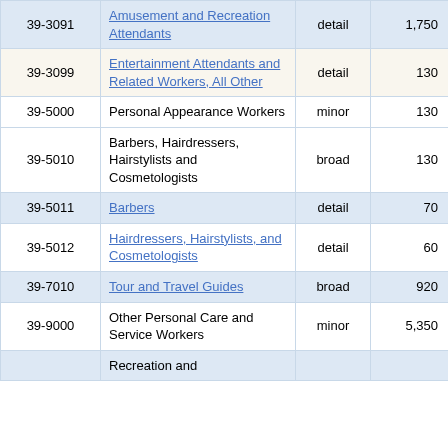| Code | Occupation | Level | Employment |  |
| --- | --- | --- | --- | --- |
| 39-3091 | Amusement and Recreation Attendants | detail | 1,750 | 0 |
| 39-3099 | Entertainment Attendants and Related Workers, All Other | detail | 130 | 0 |
| 39-5000 | Personal Appearance Workers | minor | 130 | 0 |
| 39-5010 | Barbers, Hairdressers, Hairstylists and Cosmetologists | broad | 130 | 0 |
| 39-5011 | Barbers | detail | 70 | 0 |
| 39-5012 | Hairdressers, Hairstylists, and Cosmetologists | detail | 60 | 0 |
| 39-7010 | Tour and Travel Guides | broad | 920 | 0 |
| 39-9000 | Other Personal Care and Service Workers | minor | 5,350 | 0 |
|  | Recreation and... |  |  |  |